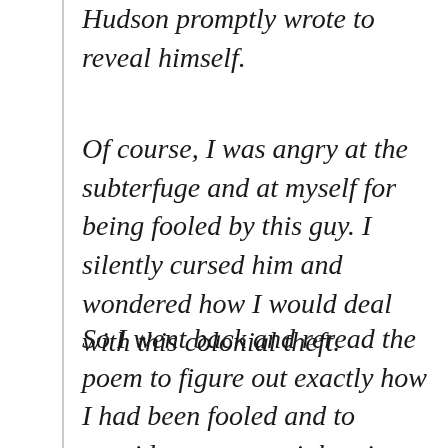Hudson promptly wrote to reveal himself.
Of course, I was angry at the subterfuge and at myself for being fooled by this guy. I silently cursed him and wondered how I would deal with this colonial theft.
So I went back and reread the poem to figure out exactly how I had been fooled and to consider my potential actions and reactions. And I realized